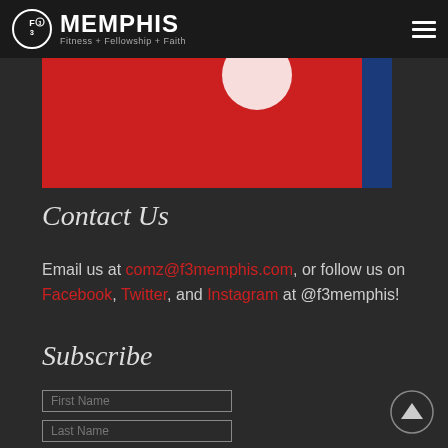F3 MEMPHIS — Fitness + Fellowship + Faith
[Figure (photo): Partial image strip showing red background with white circular logo element and blue stripe on the right]
Contact Us
Email us at comz@f3memphis.com, or follow us on Facebook, Twitter, and Instagram at @f3memphis!
Subscribe
First Name (form field)
Last Name (form field)